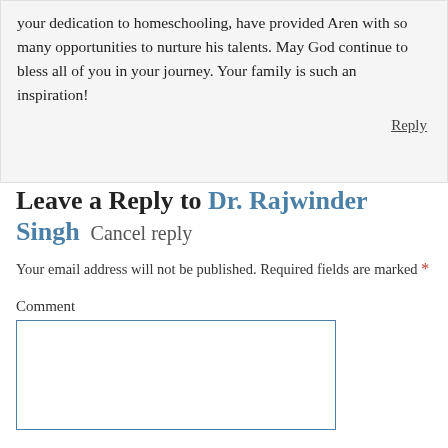your dedication to homeschooling, have provided Aren with so many opportunities to nurture his talents. May God continue to bless all of you in your journey. Your family is such an inspiration!
Reply
Leave a Reply to Dr. Rajwinder Singh Cancel reply
Your email address will not be published. Required fields are marked *
Comment